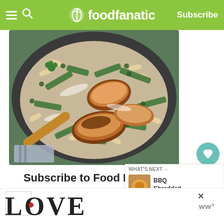foodfanatic — Subscribe
[Figure (photo): A pan of creamy pasta with asparagus and sliced grilled chicken pieces, photographed from above]
Subscribe to Food Fanatic
Get updates on the latest posts and more from Food Fanatic straight to your inbox.
[Figure (screenshot): What's Next panel showing BBQ Shredded... with a thumbnail image]
[Figure (infographic): LOVE text art advertisement banner with decorative lettering and a small logo on the right]